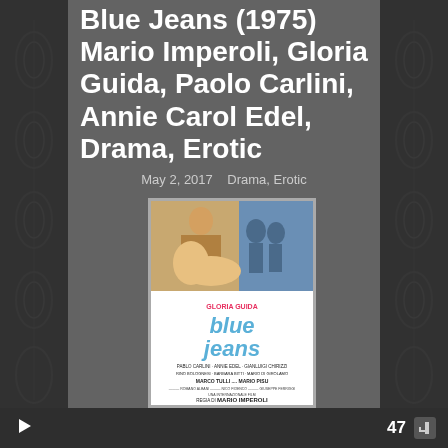Blue Jeans (1975) Mario Imperoli, Gloria Guida, Paolo Carlini, Annie Carol Edel, Drama, Erotic
May 2, 2017   Drama, Erotic
[Figure (photo): Movie poster for Blue Jeans (1975) featuring Gloria Guida, with title text 'blue jeans', cast listing including Pablo Carlini, Annie Edel, Gianluigi Chirizzi, Rino Bolognesi, Barbara Bitti, Mario Di Girolamo, Marco Tulli, Mario Pisu, directed by Mario Imperoli]
47